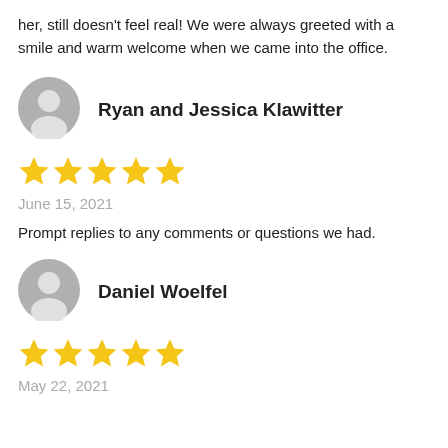her, still doesn't feel real! We were always greeted with a smile and warm welcome when we came into the office.
[Figure (illustration): Gray circular user avatar icon for Ryan and Jessica Klawitter]
Ryan and Jessica Klawitter
[Figure (other): Five yellow stars rating]
June 15, 2021
Prompt replies to any comments or questions we had.
[Figure (illustration): Gray circular user avatar icon for Daniel Woelfel]
Daniel Woelfel
[Figure (other): Five yellow stars rating]
May 22, 2021